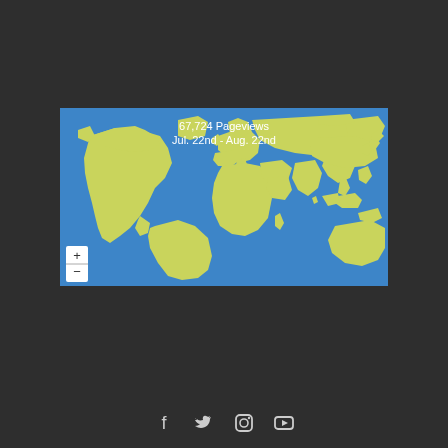[Figure (map): World map with blue ocean background and yellow-green land masses showing pageview distribution. Includes zoom in/out controls in bottom-left corner. Header text shows 67,724 Pageviews, Jul. 22nd - Aug. 22nd.]
67,724 Pageviews
Jul. 22nd - Aug. 22nd
[Figure (infographic): Social media icons row: Facebook, Twitter, Instagram, YouTube]